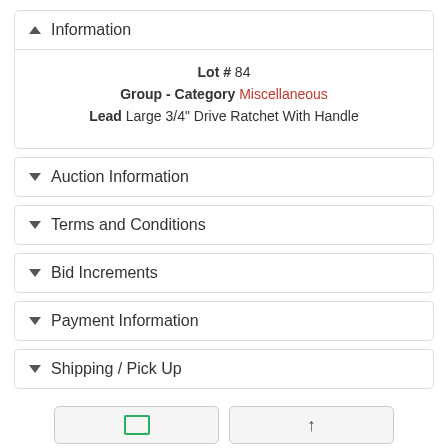Information
Lot # 84
Group - Category Miscellaneous
Lead Large 3/4" Drive Ratchet With Handle
Auction Information
Terms and Conditions
Bid Increments
Payment Information
Shipping / Pick Up